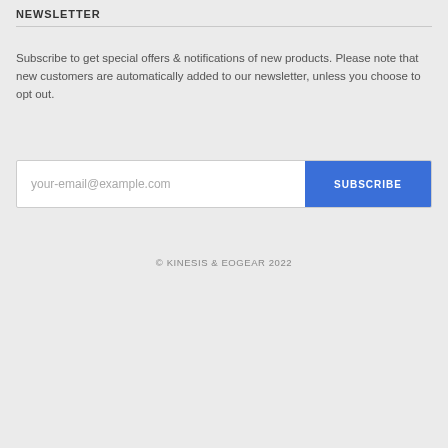NEWSLETTER
Subscribe to get special offers & notifications of new products. Please note that new customers are automatically added to our newsletter, unless you choose to opt out.
[Figure (other): Email subscription form with placeholder text 'your-email@example.com' and a blue SUBSCRIBE button]
© KINESIS & EOGEAR 2022